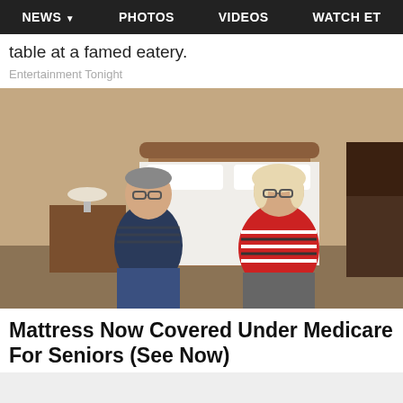NEWS  PHOTOS  VIDEOS  WATCH ET
table at a famed eatery.
Entertainment Tonight
[Figure (photo): An older couple sitting on opposite sides of a bed with a white mattress in a bedroom. The man on the left wears a dark striped polo shirt and jeans; the woman on the right wears a red, white, and black striped long-sleeve top and grey pants. A wooden headboard, nightstand with lamp, and framed photos are visible in the background.]
Mattress Now Covered Under Medicare For Seniors (See Now)